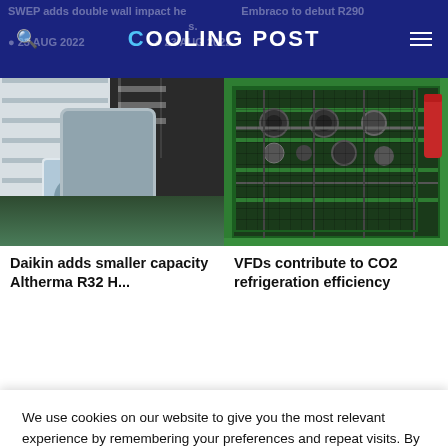COOLING POST
[Figure (photo): Outdoor heat pump unit (Daikin Altherma R32) mounted on a patio beside a building entrance with dark cladding and green shrubs]
Daikin adds smaller capacity Altherma R32 Heat pump
[Figure (photo): Green industrial CO2 refrigeration rack with compressors, pipes and components visible]
VFDs contribute to CO2 refrigeration efficiency
We use cookies on our website to give you the most relevant experience by remembering your preferences and repeat visits. By clicking “Accept”, you consent to the use of ALL the cookies.
Do not sell my personal information.
Cookie Settings
Accept